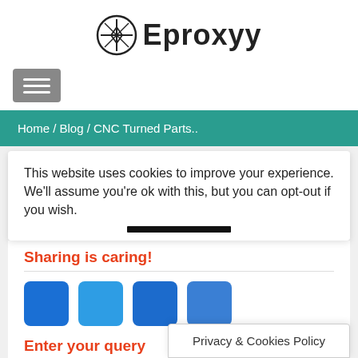[Figure (logo): Eproxyy logo with circular icon containing a star/cross symbol and the text 'Eproxyy' in bold sans-serif]
[Figure (other): Hamburger menu button (three horizontal lines on gray background)]
Home / Blog / CNC Turned Parts..
This website uses cookies to improve your experience. We'll assume you're ok with this, but you can opt-out if you wish.
Sharing is caring!
[Figure (other): Four blue social sharing buttons in a row]
Enter your query
Privacy & Cookies Policy